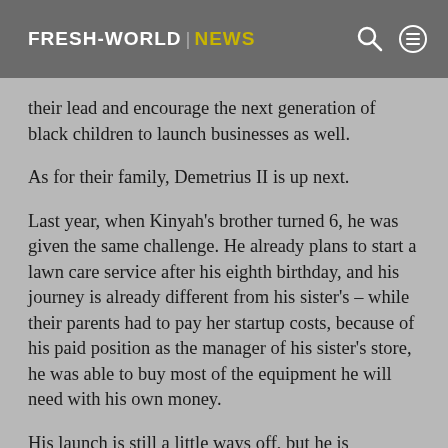FRESH-WORLD | NEWS
their lead and encourage the next generation of black children to launch businesses as well.
As for their family, Demetrius II is up next.
Last year, when Kinyah’s brother turned 6, he was given the same challenge. He already plans to start a lawn care service after his eighth birthday, and his journey is already different from his sister’s – while their parents had to pay her startup costs, because of his paid position as the manager of his sister’s store, he was able to buy most of the equipment he will need with his own money.
His launch is still a little ways off, but he is